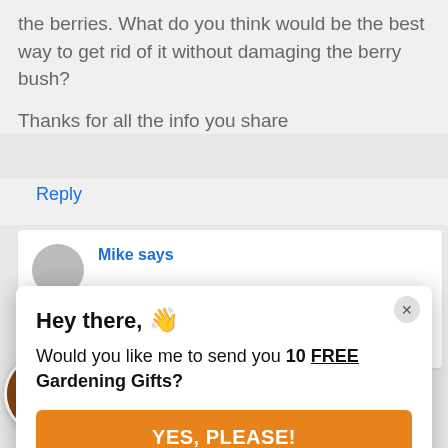the berries. What do you think would be the best way to get rid of it without damaging the berry bush?
Thanks for all the info you share
Reply
Mike says
Reply
[Figure (illustration): Popup modal with waving hand emoji, bold text heading 'Hey there,' and body text 'Would you like me to send you 10 FREE Gardening Gifts?' with an orange 'YES, PLEASE!' button and a close X button in top right corner.]
Hey there, 👋
Would you like me to send you 10 FREE Gardening Gifts?
YES, PLEASE!